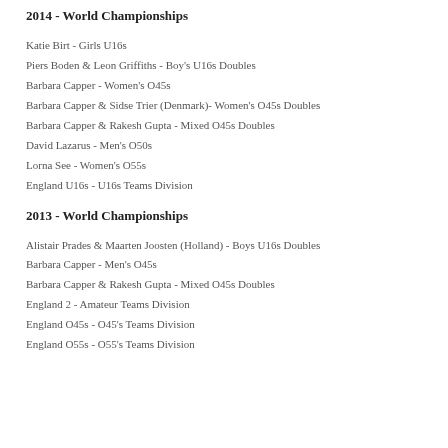2014 - World Championships
Katie Birt - Girls U16s
Piers Boden & Leon Griffiths - Boy's U16s Doubles
Barbara Capper - Women's O45s
Barbara Capper & Sidse Trier (Denmark)- Women's O45s Doubles
Barbara Capper & Rakesh Gupta - Mixed O45s Doubles
David Lazarus - Men's O50s
Lorna See - Women's O55s
England U16s - U16s Teams Division
2013 - World Championships
Alistair Prades & Maarten Joosten (Holland) - Boys U16s Doubles
Barbara Capper - Men's O45s
Barbara Capper & Rakesh Gupta - Mixed O45s Doubles
England 2 - Amateur Teams Division
England O45s - O45's Teams Division
England O55s - O55's Teams Division